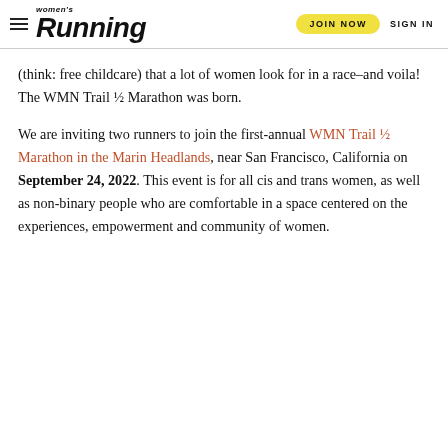Women's Running | JOIN NOW | SIGN IN
(think: free childcare) that a lot of women look for in a race–and voila! The WMN Trail ½ Marathon was born.
We are inviting two runners to join the first-annual WMN Trail ½ Marathon in the Marin Headlands, near San Francisco, California on September 24, 2022. This event is for all cis and trans women, as well as non-binary people who are comfortable in a space centered on the experiences, empowerment and community of women.